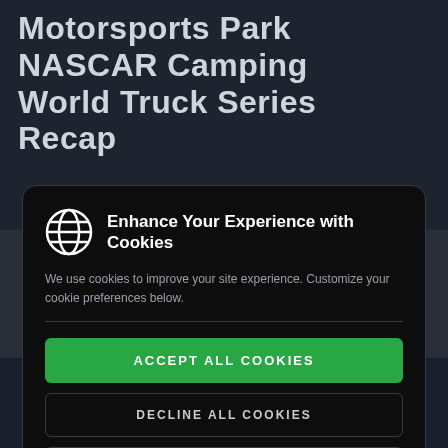Motorsports Park NASCAR Camping World Truck Series Recap
[Figure (screenshot): Cookie consent modal dialog with globe icon, title 'Enhance Your Experience with Cookies', descriptive text, and three buttons: Accept All Cookies (green), Decline All Cookies, Customize Cookies]
40% Off NEW MEMBERSHIPS